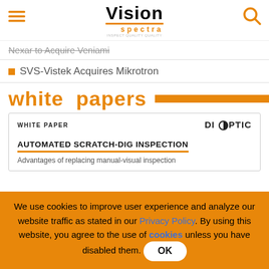Vision spectra
Nexar to Acquire Veniami
SVS-Vistek Acquires Mikrotron
white papers
WHITE PAPER | DIOPTIC
AUTOMATED SCRATCH-DIG INSPECTION
Advantages of replacing manual-visual inspection
We use cookies to improve user experience and analyze our website traffic as stated in our Privacy Policy. By using this website, you agree to the use of cookies unless you have disabled them. OK